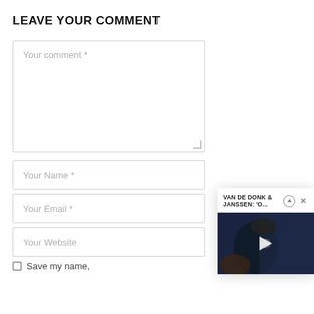LEAVE YOUR COMMENT
[Figure (screenshot): Comment text area input field with placeholder 'Your comment *' and a resize handle at bottom right]
[Figure (screenshot): Name input field with placeholder 'Your Name *']
[Figure (screenshot): Email input field with placeholder 'Your Email *']
[Figure (screenshot): Website input field with placeholder 'Your Website']
Save my name,
[Figure (screenshot): Popup panel overlay showing title 'VAN DE DONK & JANSSEN: 'O...' with up-arrow and X icons, and a video thumbnail of a person holding a camera with a play button in the center]